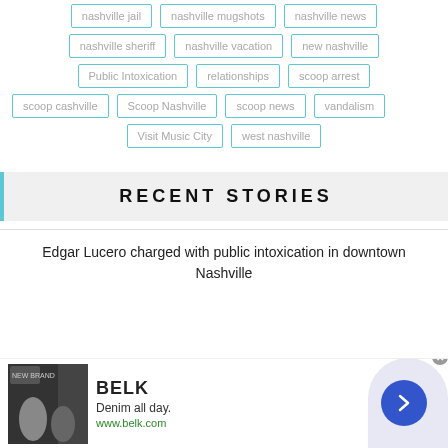nashville jail
nashville mugshots
nashville news
nashville sheriff
nashville vacation
new nashville
Public Intoxication
relationships
scoop arrest
scoop cashville
Scoop Nashville
scoop news
vandalism
Visit Music City
west nashville
RECENT STORIES
Edgar Lucero charged with public intoxication in downtown Nashville
[Figure (other): Advertisement banner for BELK: 'Denim all day. www.belk.com' with fashion imagery and navigation arrow]